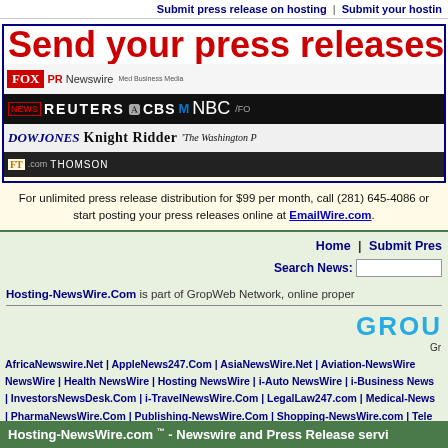Submit press release on hosting | Submit your hosting
[Figure (screenshot): Banner advertisement: 'Send your press releases to maj...' with logos of PR Newswire, Fox, Reuters, CBS, NBC, Fox, Dow Jones, Knight Ridder, The Washington Post, FT.com, Thomson]
For unlimited press release distribution for $99 per month, call (281) 645-4086 or start posting your press releases online at EmailWire.com.
Home | Submit Press
Search News:
Hosting-NewsWire.Com is part of GropWeb Network, online proper...
[Figure (logo): GropWeb network logo — GROU in teal/blue large letters]
Gr
AfricaNewswire.Net | AppleNews247.Com | AsiaNewsWire.Net | Aviation-NewsWire... | NewsWire | Health NewsWire | Hosting NewsWire | i-Auto NewsWire | i-Business News... | InvestorsNewsDesk.Com | i-TravelNewsWire.Com | LegalLaw247.com | Medical-News... | PharmaNewsWire.Com | Publishing-NewsWire.Com | Shopping-NewsWire.com | Tele...
Hosting-NewsWire.com ™ - Newswire and Press Release servi...